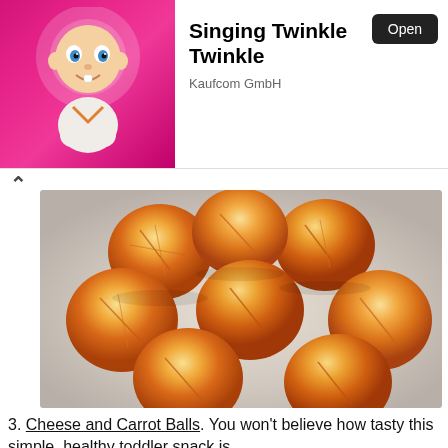[Figure (screenshot): App advertisement banner showing a cartoon baby with glowing halo on pink/magenta background, with app title 'Singing Twinkle Twinkle', publisher 'Kaufcom GmbH', and an 'Open' button]
Singing Twinkle Twinkle
Kaufcom GmbH
[Figure (photo): Seven cheese and carrot balls arranged on a white plate, showing golden-orange shredded carrot and cheese texture]
3. Cheese and Carrot Balls. You won't believe how tasty this simple, healthy toddler snack is.